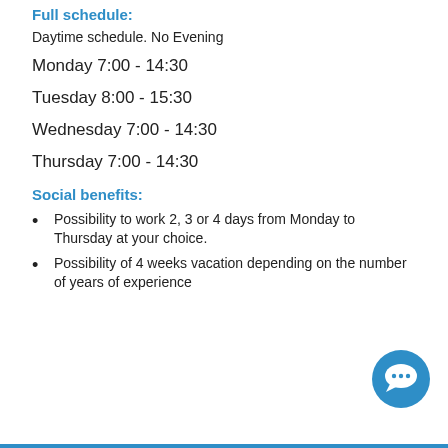Full schedule:
Daytime schedule. No Evening
Monday 7:00 - 14:30
Tuesday 8:00 - 15:30
Wednesday 7:00 - 14:30
Thursday 7:00 - 14:30
Social benefits:
Possibility to work 2, 3 or 4 days from Monday to Thursday at your choice.
Possibility of 4 weeks vacation depending on the number of years of experience